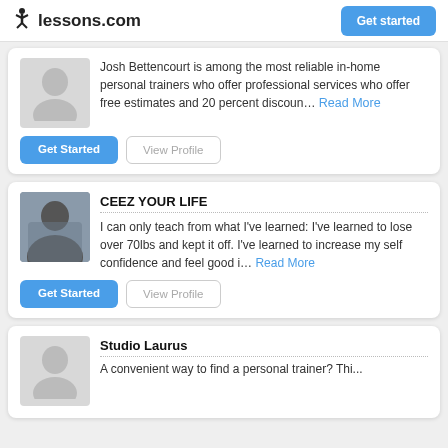lessons.com | Get started
Josh Bettencourt is among the most reliable in-home personal trainers who offer professional services who offer free estimates and 20 percent discoun... Read More
Get Started | View Profile
CEEZ YOUR LIFE
I can only teach from what I've learned: I've learned to lose over 70lbs and kept it off. I've learned to increase my self confidence and feel good i... Read More
Get Started | View Profile
Studio Laurus